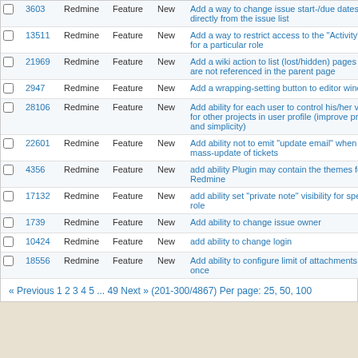|  | # | Project | Tracker | Status | Subject |
| --- | --- | --- | --- | --- | --- |
|  | 3603 | Redmine | Feature | New | Add a way to change issue start-/due dates directly from the issue list |
|  | 13511 | Redmine | Feature | New | Add a way to restrict access to the "Activity" feed for a particular role |
|  | 21969 | Redmine | Feature | New | Add a wiki action to list (lost/hidden) pages which are not referenced in the parent page |
|  | 2947 | Redmine | Feature | New | Add a wrapping-setting button to editor windows |
|  | 28106 | Redmine | Feature | New | Add ability for each user to control his/her visibility for other projects in user profile (improve privacy and simplicity) |
|  | 22601 | Redmine | Feature | New | Add ability not to emit "update email" when doing mass-update of tickets |
|  | 4356 | Redmine | Feature | New | add ability Plugin may contain the themes for Redmine |
|  | 17132 | Redmine | Feature | New | add ability set "private note" visibility for specific role |
|  | 1739 | Redmine | Feature | New | Add ability to change issue owner |
|  | 10424 | Redmine | Feature | New | add ability to change login |
|  | 18556 | Redmine | Feature | New | Add ability to configure limit of attachments at once |
« Previous 1 2 3 4 5 ... 49 Next » (201-300/4867) Per page: 25, 50, 100